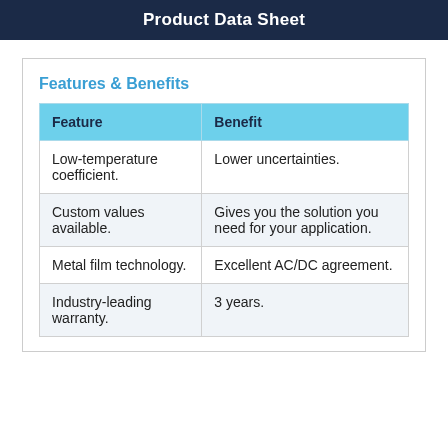Product Data Sheet
Features & Benefits
| Feature | Benefit |
| --- | --- |
| Low-temperature coefficient. | Lower uncertainties. |
| Custom values available. | Gives you the solution you need for your application. |
| Metal film technology. | Excellent AC/DC agreement. |
| Industry-leading warranty. | 3 years. |